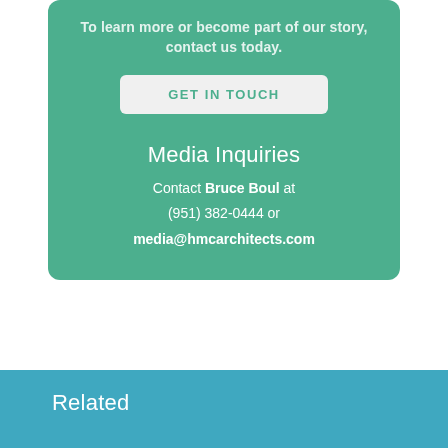To learn more or become part of our story, contact us today.
GET IN TOUCH
Media Inquiries
Contact Bruce Boul at (951) 382-0444 or media@hmcarchitects.com
Related